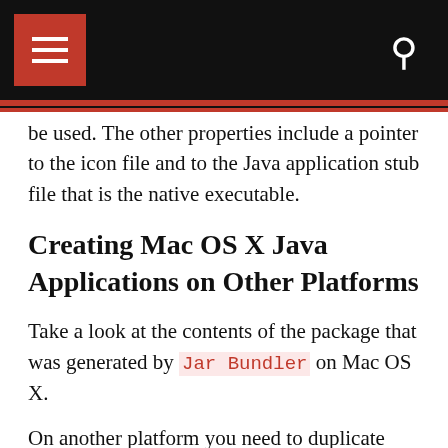Navigation header with hamburger menu and search icon
be used. The other properties include a pointer to the icon file and to the Java application stub file that is the native executable.
Creating Mac OS X Java Applications on Other Platforms
Take a look at the contents of the package that was generated by Jar Bundler on Mac OS X.
On another platform you need to duplicate this structure. To create an application named “JavaSoundDemo” on, say, a Windows machine, start by creating a directory and naming it JavaSoundDemo.app. Next, create a subdirectory named Contents. Inside